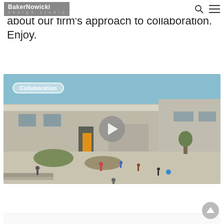BakerNowicki design studio
about our firm’s approach to collaboration. Enjoy.
[Figure (photo): Video thumbnail of a school courtyard with children playing, showing a modern building with concrete and tile facade. A 'Collaboration' label badge is overlaid in the upper left, and a play button circle is centered on the image.]